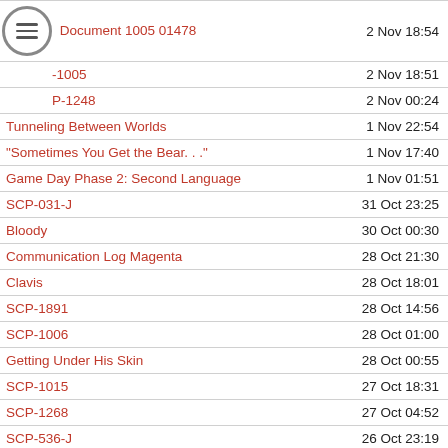| Title | Date | Count |
| --- | --- | --- |
| Document 1005 01478 | 2 Nov 18:54 | 8 |
| -1005 | 2 Nov 18:51 | 33 |
| P-1248 | 2 Nov 00:24 | 48 |
| Tunneling Between Worlds | 1 Nov 22:54 | 16 |
| "Sometimes You Get the Bear. . ." | 1 Nov 17:40 | 10 |
| Game Day Phase 2: Second Language | 1 Nov 01:51 | 8 |
| SCP-031-J | 31 Oct 23:25 | 41 |
| Bloody | 30 Oct 00:30 | 4 |
| Communication Log Magenta | 28 Oct 21:30 | 6 |
| Clavis | 28 Oct 18:01 | 25 |
| SCP-1891 | 28 Oct 14:56 | 17 |
| SCP-1006 | 28 Oct 01:00 | 100 |
| Getting Under His Skin | 28 Oct 00:55 | 9 |
| SCP-1015 | 27 Oct 18:31 | 63 |
| SCP-1268 | 27 Oct 04:52 | 45 |
| SCP-536-J | 26 Oct 23:19 | 45 |
| The Light At The End Of The Tunnel | 26 Oct 21:56 | 8 |
| SCP-1008 | 26 Oct 21:09 | 32 |
| Shark Tale | 26 Oct 15:16 | 23 |
| Ecce Perago | 26 Oct 06:48 | 68 |
| SCP-1110 | 26 Oct 02:53 | 37 |
| Trick or Treat | 26 Oct 02:01 | 11 |
| Welcome to the Future | 25 Oct 22:06 | 20 |